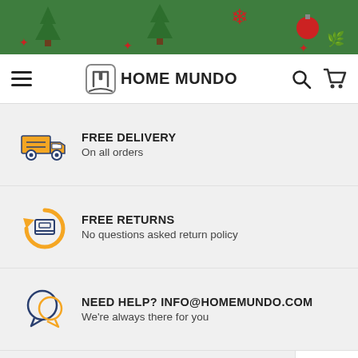[Figure (illustration): Christmas-themed green banner with holiday decorations including trees, snowflakes, ornaments and holly]
HOME MUNDO — navigation bar with hamburger menu, logo, search and cart icons
FREE DELIVERY — On all orders
FREE RETURNS — No questions asked return policy
NEED HELP? info@homemundo.com — We're always there for you
MONEY BACK GUARANTEE — Worry-free shopping
ADD TO CART